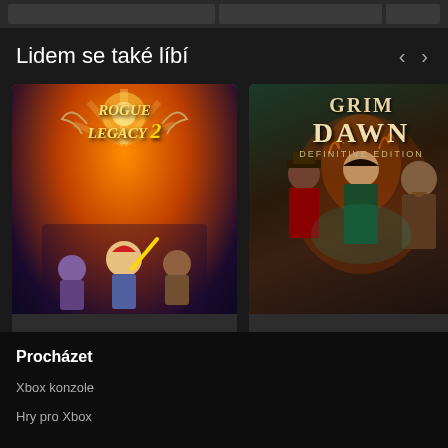Lidem se také líbí
[Figure (screenshot): Game cover art for Rogue Legacy 2]
719,00 Kč
[Figure (screenshot): Game cover art for Grim Dawn Definitive Edition]
1 579,00 Kč
[Figure (screenshot): Partial game cover art with Game Pass badge, price 1 149,...]
1 149,
Procházet
Xbox konzole
Hry pro Xbox